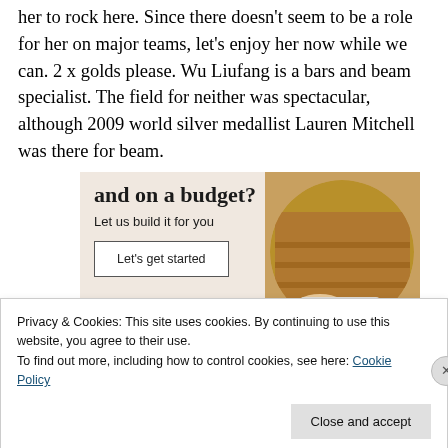her to rock here. Since there doesn't seem to be a role for her on major teams, let's enjoy her now while we can. 2 x golds please. Wu Liufang is a bars and beam specialist. The field for neither was spectacular, although 2009 world silver medallist Lauren Mitchell was there for beam.
[Figure (other): Advertisement banner with text 'and on a budget? Let us build it for you' and a 'Let's get started' button, alongside an image of a person's hands using a device.]
Privacy & Cookies: This site uses cookies. By continuing to use this website, you agree to their use.
To find out more, including how to control cookies, see here: Cookie Policy
Close and accept